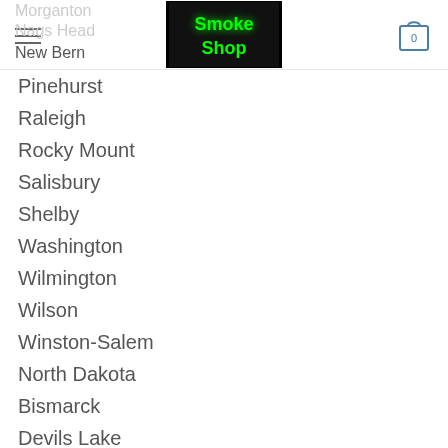Smoke Shop — navigation header with menu icon, logo, and cart
Morganton
Nags Head
New Bern
Pinehurst
Raleigh
Rocky Mount
Salisbury
Shelby
Washington
Wilmington
Wilson
Winston-Salem
North Dakota
Bismarck
Devils Lake
Dickinson
Fargo
Grand Forks